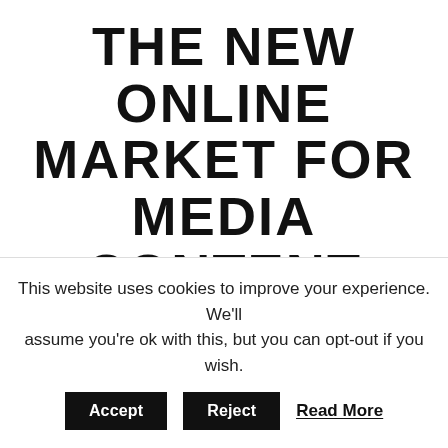THE NEW ONLINE MARKET FOR MEDIA CONTENT
At times where face to face meetings are difficult to have we must reinvent ourselves: DIMA is the definitive digital market to find the best media content from a global community, connecting producers and buyers in an optimized
This website uses cookies to improve your experience. We'll assume you're ok with this, but you can opt-out if you wish.
Accept   Reject   Read More